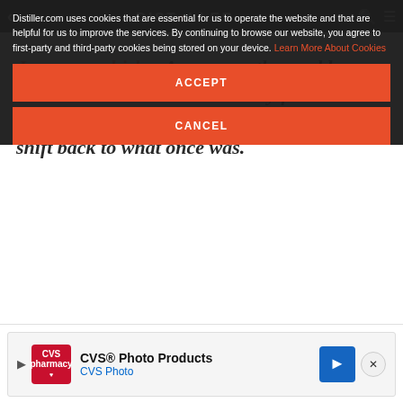DISTILLER (nav bar with logo, back arrow, search and menu icons)
Japanese whisky. As soon as the world discovered the statement whisky from Suntory and Nikka went into at least a slight shift back to what once was.
Distiller.com uses cookies that are essential for us to operate the website and that are helpful for us to improve the services. By continuing to browse our website, you agree to first-party and third-party cookies being stored on your device. Learn More About Cookies
ACCEPT
CANCEL
[Figure (screenshot): CVS Photo Products advertisement banner at the bottom of the page, featuring CVS pharmacy logo, text 'CVS® Photo Products' and 'CVS Photo', a blue navigation arrow icon, and a close (X) button.]